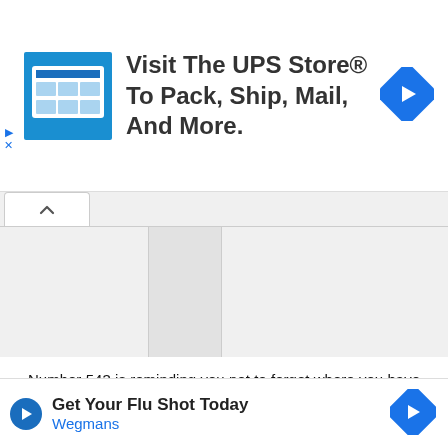[Figure (infographic): UPS Store advertisement banner: logo image, text 'Visit The UPS Store® To Pack, Ship, Mail, And More.', blue diamond arrow icon]
[Figure (screenshot): Collapsed UI section with caret up tab and gray panels on left and right sides]
Number 543 is reminding you not to forget where you have come from. Be certain and sure that in this relationship, when system and order are streamlined, there will be a resolution.
Importance Of 543
You n... e from angel... s and
[Figure (infographic): Bottom advertisement banner: 'Get Your Flu Shot Today' from Wegmans with blue play button and diamond arrow icon]